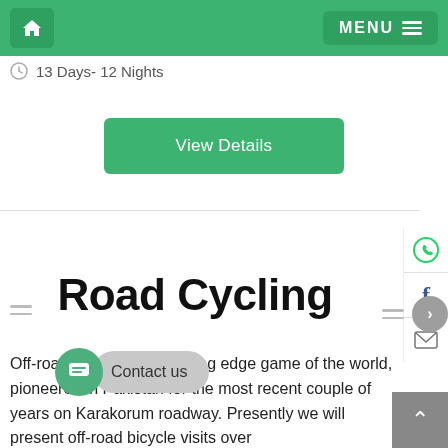Home | MENU
13 Days- 12 Nights
View Details
Road Cycling
Off-road bicycle is the cutting edge game of the world, pioneered in Pakistan for the most recent couple of years on Karakorum roadway. Presently we will present off-road bicycle visits over